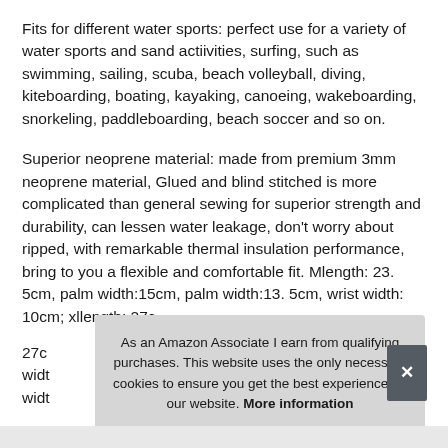Fits for different water sports: perfect use for a variety of water sports and sand actiivities, surfing, such as swimming, sailing, scuba, beach volleyball, diving, kiteboarding, boating, kayaking, canoeing, wakeboarding, snorkeling, paddleboarding, beach soccer and so on.
Superior neoprene material: made from premium 3mm neoprene material, Glued and blind stitched is more complicated than general sewing for superior strength and durability, can lessen water leakage, don't worry about ripped, with remarkable thermal insulation performance, bring to you a flexible and comfortable fit. Mlength: 23. 5cm, palm width:15cm, palm width:13. 5cm, wrist width: 10cm; xllength: 27c... widt... widt...
As an Amazon Associate I earn from qualifying purchases. This website uses the only necessary cookies to ensure you get the best experience on our website. More information